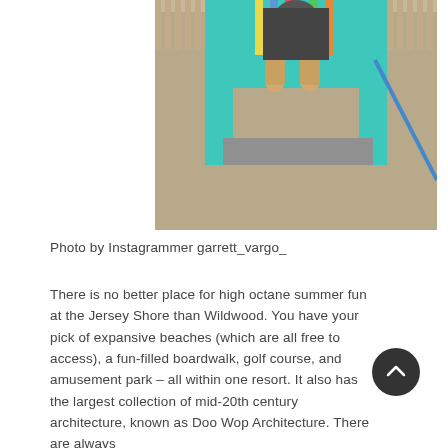[Figure (photo): A dog standing on a teal/turquoise lifeguard stand at the beach, with colorful leashes visible and sandy ground below.]
Photo by Instagrammer garrett_vargo_
There is no better place for high octane summer fun at the Jersey Shore than Wildwood. You have your pick of expansive beaches (which are all free to access), a fun-filled boardwalk, golf course, and amusement park – all within one resort. It also has the largest collection of mid-20th century architecture, known as Doo Wop Architecture. There are always